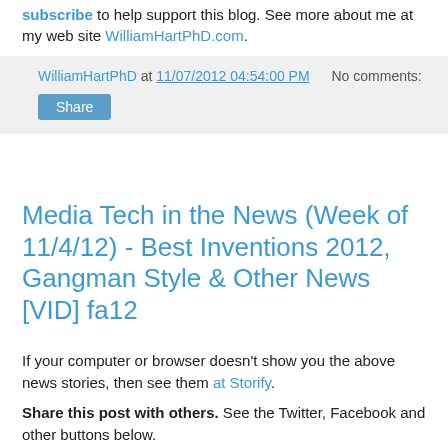subscribe to help support this blog. See more about me at my web site WilliamHartPhD.com.
WilliamHartPhD at 11/07/2012 04:54:00 PM   No comments:
Share
Media Tech in the News (Week of 11/4/12) - Best Inventions 2012, Gangman Style & Other News [VID] fa12
If your computer or browser doesn't show you the above news stories, then see them at Storify.
Share this post with others. See the Twitter, Facebook and other buttons below. Please follow, add, friend or subscribe to help support this